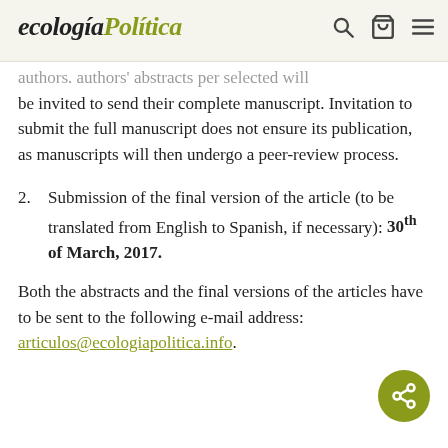ecologíaPolítica
authors. authors' abstracts per selected will be invited to send their complete manuscript. Invitation to submit the full manuscript does not ensure its publication, as manuscripts will then undergo a peer-review process.
2. Submission of the final version of the article (to be translated from English to Spanish, if necessary): 30th of March, 2017.
Both the abstracts and the final versions of the articles have to be sent to the following e-mail address: articulos@ecologiapolitica.info.